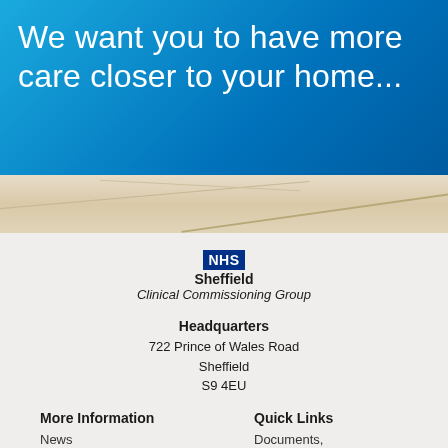We want you to have more care closer to your home...
[Figure (photo): Map strip showing street map background in beige/tan colors]
[Figure (logo): NHS Sheffield Clinical Commissioning Group logo with blue NHS badge]
Headquarters
722 Prince of Wales Road
Sheffield
S9 4EU
More Information
News
Quick Links
Documents, Policies,